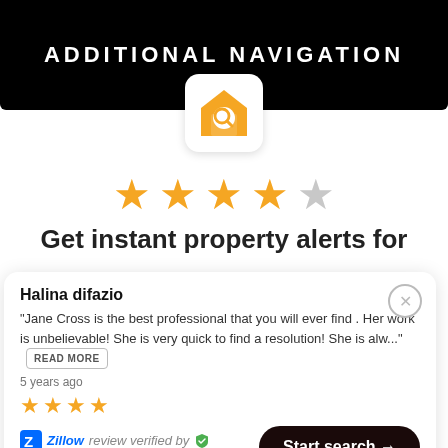ADDITIONAL NAVIGATION
[Figure (illustration): Orange house with magnifying glass icon on white rounded square background]
[Figure (infographic): 4 filled orange stars and 1 empty/grey star rating]
Get instant property alerts for
Halina difazio
"Jane Cross is the best professional that you will ever find . Her work is unbelievable! She is very quick to find a resolution! She is alw..."
5 years ago
[Figure (infographic): 4 filled orange small stars]
Zillow review verified by Endorsal.io
Start search →